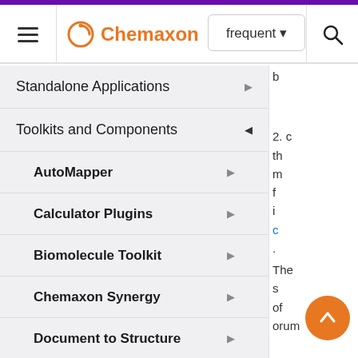Chemaxon — frequent — [search]
Standalone Applications
Toolkits and Components
AutoMapper
Calculator Plugins
Biomolecule Toolkit
Chemaxon Synergy
Document to Structure
JChem Base
JChem Base Administration
b
2. c
th
m
f
i
c
.
The
s
of
orum